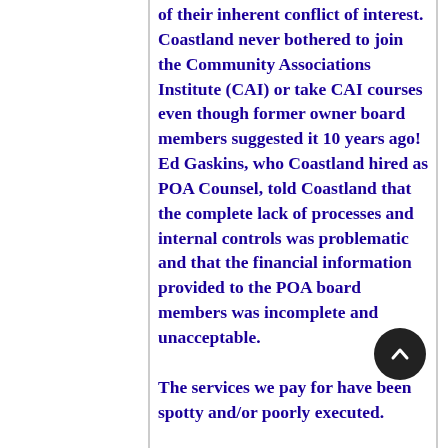of their inherent conflict of interest. Coastland never bothered to join the Community Associations Institute (CAI) or take CAI courses even though former owner board members suggested it 10 years ago!  Ed Gaskins, who Coastland hired as POA Counsel, told Coastland that the complete lack of processes and internal controls was problematic and that the financial information provided to the POA board members was incomplete and unacceptable.

The services we pay for have been spotty and/or poorly executed.